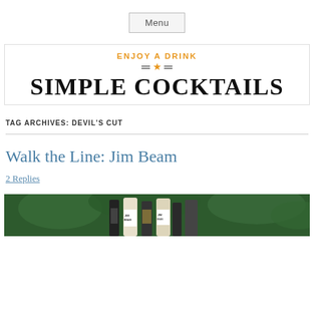Menu
[Figure (logo): Enjoy a Drink Simple Cocktails logo with orange star and double lines]
TAG ARCHIVES: DEVIL'S CUT
Walk the Line: Jim Beam
2 Replies
[Figure (photo): Photo of Jim Beam whiskey bottles against a green leafy background]